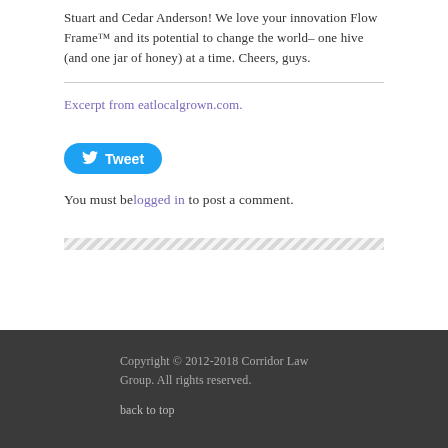Stuart and Cedar Anderson! We love your innovation Flow Frame™ and its potential to change the world– one hive (and one jar of honey) at a time. Cheers, guys.
Excerpt from eatlocalgrown.com.
[Figure (other): Tweet button (Twitter share button, blue rounded rectangle with bird icon and 'Tweet' text)]
You must be logged in to post a comment.
Copyright © 2012-2018 Corridor Law Group. All rights reserved.
back to top